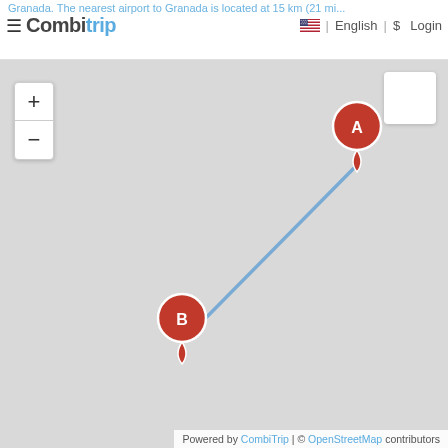Granada. The nearest airport to Granada is located at 15 km (21 min... | English | $ Login
[Figure (map): Map showing two points: marker A (upper right) and marker B (lower left), connected by a straight blue line. Background is light grey representing a map view.]
Powered by CombiTrip | © OpenStreetMap contributors